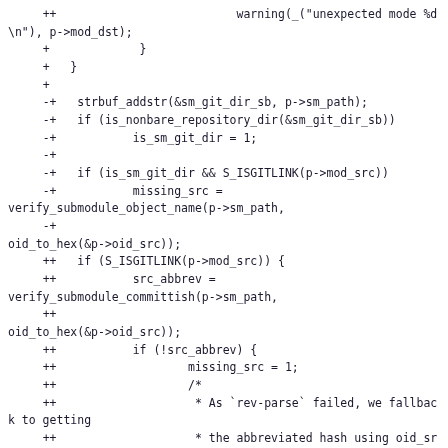++                          warning(_("unexpected mode %d\n"), p->mod_dst);
+             }
+   }
+
-+   strbuf_addstr(&sm_git_dir_sb, p->sm_path);
-+   if (is_nonbare_repository_dir(&sm_git_dir_sb))
-+           is_sm_git_dir = 1;
-+
-+   if (is_sm_git_dir && S_ISGITLINK(p->mod_src))
-+           missing_src =
verify_submodule_object_name(p->sm_path,
     -+
oid_to_hex(&p->oid_src));
     ++   if (S_ISGITLINK(p->mod_src)) {
     ++           src_abbrev =
verify_submodule_committish(p->sm_path,
     ++
oid_to_hex(&p->oid_src));
     ++           if (!src_abbrev) {
     ++                   missing_src = 1;
     ++                   /*
     ++                    * As `rev-parse` failed, we fallback to getting
     ++                    * the abbreviated hash using oid_src. We do
     ++                    * this as we might still need the abbreviated
     ++                    * hash in cases like a submodule type change, etc.